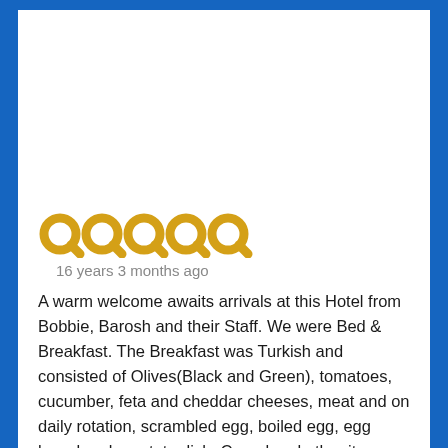[Figure (other): Five gold/yellow Q-shaped rating symbols (star rating alternative) indicating a 5-out-of-5 rating]
16 years 3 months ago
A warm welcome awaits arrivals at this Hotel from Bobbie, Barosh and their Staff. We were Bed & Breakfast. The Breakfast was Turkish and consisted of Olives(Black and Green), tomatoes, cucumber, feta and cheddar cheeses, meat and on daily rotation, scrambled egg, boiled egg, egg bread and a potato dish. Cereal and other items come at extra cost. There was also jam and plenty of delicious bread plus tea and coffee. On the subject of food, there is a comprehensive snack menu available during the day, the quality of which is excellent.